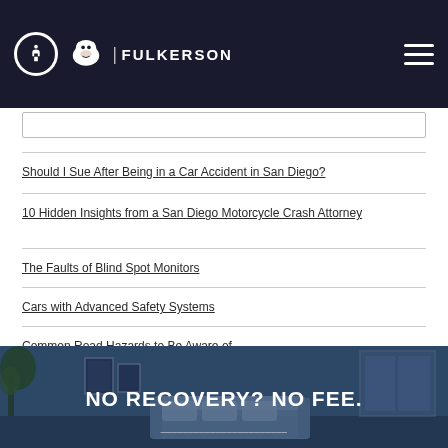ADA | FULKERSON
Should I Sue After Being in a Car Accident in San Diego?
10 Hidden Insights from a San Diego Motorcycle Crash Attorney
The Faults of Blind Spot Monitors
Cars with Advanced Safety Systems
Common Road Hazards to Be Aware of
[Figure (photo): Office interior with blue decor, plants, and seating area, overlaid with text 'NO RECOVERY? NO FEE.']